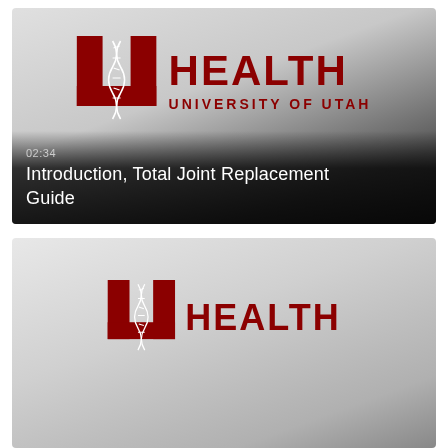[Figure (screenshot): Video thumbnail showing University of Utah Health logo on gradient background with timestamp 02:34 and title 'Introduction, Total Joint Replacement Guide']
[Figure (screenshot): Second video thumbnail showing University of Utah Health logo on gradient background, partially visible]